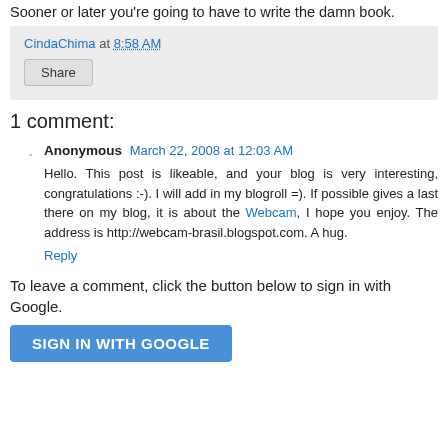Sooner or later you're going to have to write the damn book.
CindaChima at 8:58 AM
Share
1 comment:
Anonymous March 22, 2008 at 12:03 AM
Hello. This post is likeable, and your blog is very interesting, congratulations :-). I will add in my blogroll =). If possible gives a last there on my blog, it is about the Webcam, I hope you enjoy. The address is http://webcam-brasil.blogspot.com. A hug.
Reply
To leave a comment, click the button below to sign in with Google.
SIGN IN WITH GOOGLE